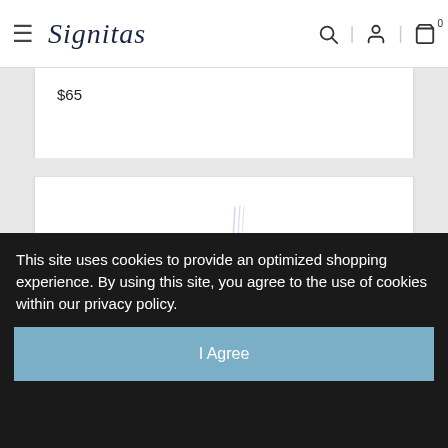Signitas
$65
[Figure (illustration): Decorative cursive script logo watermark in light blue/lavender on white background, showing elegant flowing calligraphy lines]
This site uses cookies to provide an optimized shopping experience. By using this site, you agree to the use of cookies within our privacy policy.
I Agree